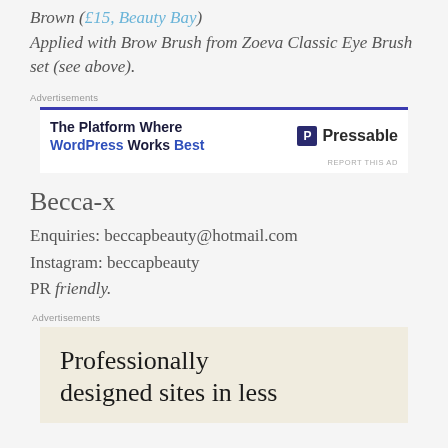Brown (£15, Beauty Bay)
Applied with Brow Brush from Zoeva Classic Eye Brush set (see above).
[Figure (other): Advertisement banner for Pressable: 'The Platform Where WordPress Works Best' with Pressable logo]
Becca-x
Enquiries: beccapbeauty@hotmail.com
Instagram: beccapbeauty
PR friendly.
[Figure (other): Advertisement banner: 'Professionally designed sites in less']